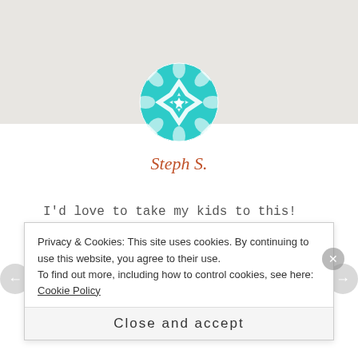[Figure (illustration): Circular geometric avatar icon with teal/turquoise and white star pattern on a mosaic tile design]
Steph S.
I'd love to take my kids to this! Thanks for a great giveaway!
REPLY
Privacy & Cookies: This site uses cookies. By continuing to use this website, you agree to their use.
To find out more, including how to control cookies, see here: Cookie Policy
Close and accept